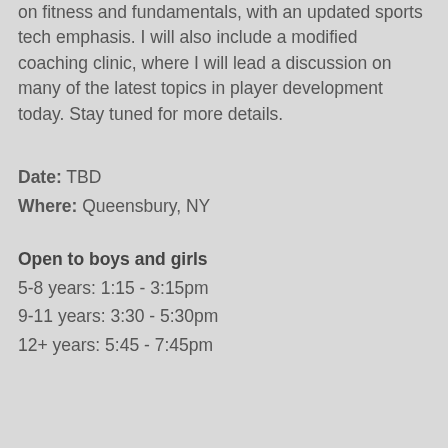on fitness and fundamentals, with an updated sports tech emphasis. I will also include a modified coaching clinic, where I will lead a discussion on many of the latest topics in player development today. Stay tuned for more details.
Date: TBD
Where: Queensbury, NY
Open to boys and girls
5-8 years: 1:15 - 3:15pm
9-11 years: 3:30 - 5:30pm
12+ years: 5:45 - 7:45pm